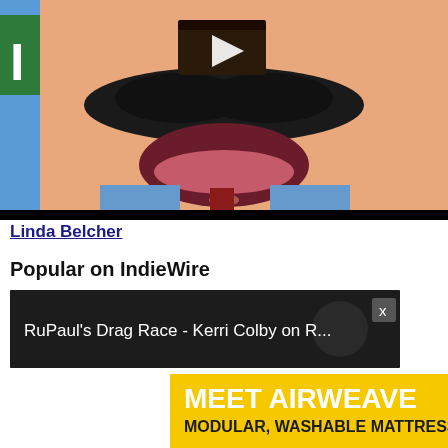[Figure (screenshot): Animated cartoon close-up of Bob Belcher character from Bob's Burgers with a large mustache and open mouth, showing a video player overlay with a play button triangle icon. Below the video frame is a black letterbox bar.]
Linda Belcher
Popular on IndieWire
[Figure (screenshot): Video thumbnail with dark background showing text: RuPaul's Drag Race - Kerri Colby on R... with an X close button on the right side.]
[Figure (screenshot): Advertisement banner: MEET AIRWEAVE / MODULAR, WASHABLE MATTRESS with SPY logo on yellow background and an X close button.]